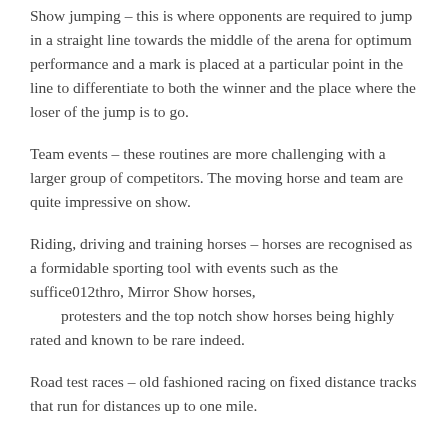Show jumping – this is where opponents are required to jump in a straight line towards the middle of the arena for optimum performance and a mark is placed at a particular point in the line to differentiate to both the winner and the place where the loser of the jump is to go.
Team events – these routines are more challenging with a larger group of competitors. The moving horse and team are quite impressive on show.
Riding, driving and training horses – horses are recognised as a formidable sporting tool with events such as the suffice012thro, Mirror Show horses,        protesters and the top notch show horses being highly rated and known to be rare indeed.
Road test races – old fashioned racing on fixed distance tracks that run for distances up to one mile.